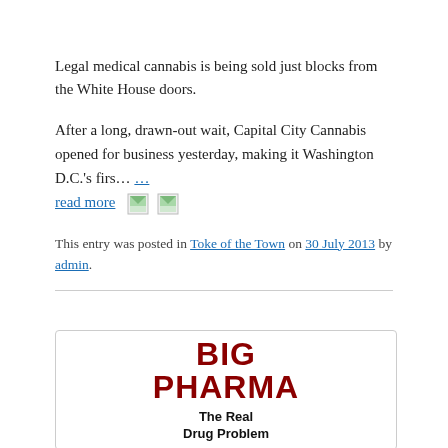Legal medical cannabis is being sold just blocks from the White House doors.
After a long, drawn-out wait, Capital City Cannabis opened for business yesterday, making it Washington D.C.'s firs... ... read more
This entry was posted in Toke of the Town on 30 July 2013 by admin.
[Figure (illustration): Book cover image showing 'BIG PHARMA The Real Drug Problem' in bold red and black text on white background with rounded border]